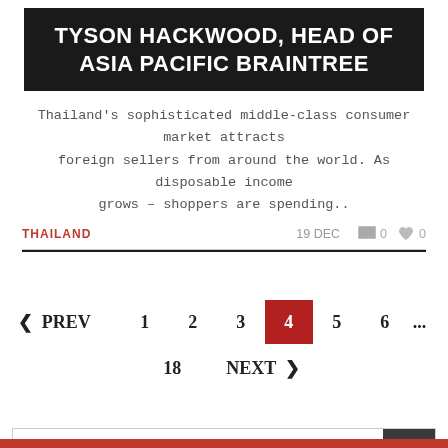TYSON HACKWOOD, HEAD OF ASIA PACIFIC BRAINTREE
Thailand's sophisticated middle-class consumer market attracts foreign sellers from around the world. As disposable income grows – shoppers are spending..
THAILAND   19 DEC  0  0
< PREV  1  2  3  4  5  6  ...  18  NEXT >